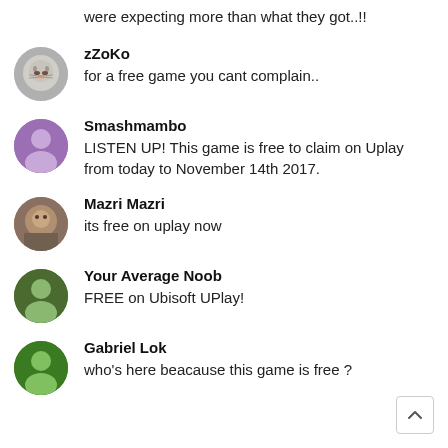were expecting more than what they got..!!
zZoKo
for a free game you cant complain..
Smashmambo
LISTEN UP! This game is free to claim on Uplay from today to November 14th 2017.
Mazri Mazri
its free on uplay now
Your Average Noob
FREE on Ubisoft UPlay!
Gabriel Lok
who's here beacause this game is free ?